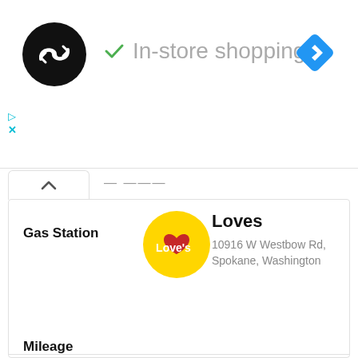[Figure (logo): Dark circular logo with white arrow/loop icon (GasBuddy or similar app logo)]
✓ In-store shopping
[Figure (logo): Blue diamond navigation/directions icon with white arrow]
[Figure (screenshot): Ad controls: play button and close X in teal/cyan]
Gas Station
[Figure (logo): Love's Travel Stops logo — yellow circle with red heart and white text Loves]
Loves
10916 W Westbow Rd, Spokane, Washington
Location
Spokane
Regular
- --
Mileage